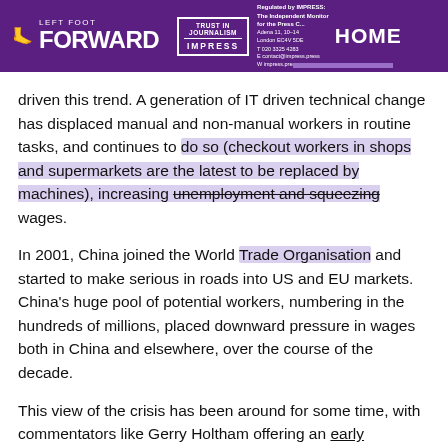LEFT FOOT FORWARD | TRUST IN JOURNALISM IMPRESS | HOME
driven this trend. A generation of IT driven technical change has displaced manual and non-manual workers in routine tasks, and continues to do so (checkout workers in shops and supermarkets are the latest to be replaced by machines), increasing unemployment and squeezing wages.
In 2001, China joined the World Trade Organisation and started to make serious in roads into US and EU markets. China's huge pool of potential workers, numbering in the hundreds of millions, placed downward pressure in wages both in China and elsewhere, over the course of the decade.
This view of the crisis has been around for some time, with commentators like Gerry Holtham offering an early